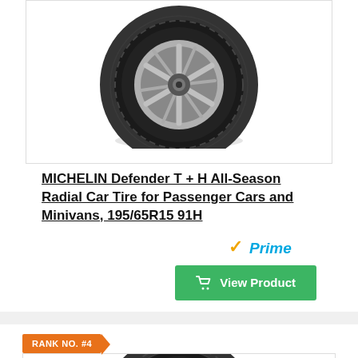[Figure (photo): Top view of MICHELIN Defender T+H tire on a wheel, shown from a low angle on a white background (partially visible, top portion of card).]
MICHELIN Defender T + H All-Season Radial Car Tire for Passenger Cars and Minivans, 195/65R15 91H
[Figure (logo): Amazon Prime badge with orange checkmark and blue italic 'Prime' text]
View Product
RANK NO. #4
[Figure (photo): Michelin tire on a wheel, shown from a 3/4 angle, partially visible at the bottom of the page.]